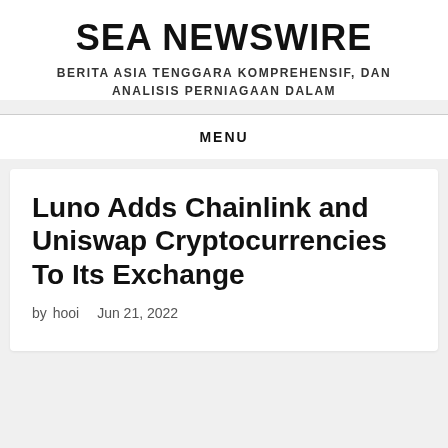SEA NEWSWIRE
BERITA ASIA TENGGARA KOMPREHENSIF, DAN ANALISIS PERNIAGAAN DALAM
MENU
Luno Adds Chainlink and Uniswap Cryptocurrencies To Its Exchange
by hooi   Jun 21, 2022